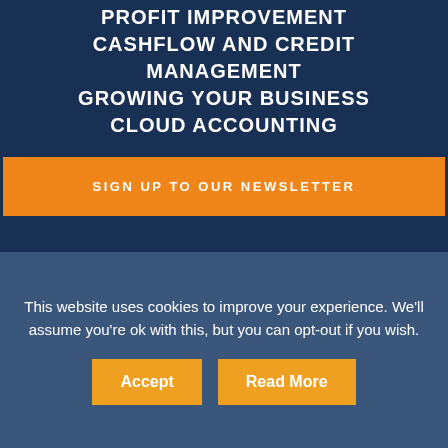PROFIT IMPROVEMENT
CASHFLOW AND CREDIT MANAGEMENT
GROWING YOUR BUSINESS
CLOUD ACCOUNTING
SIGN UP TO OUR NEWSLETTER
© Blue Box Consulting 2014 - 2021
This website uses cookies to improve your experience. We'll assume you're ok with this, but you can opt-out if you wish.
Accept
Read More